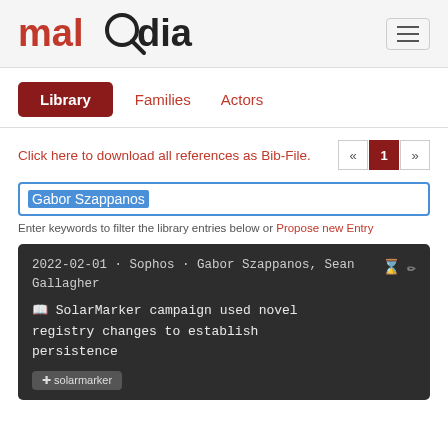malpedia
Library
Families
Actors
Click here to download all references as Bib-File.
Gabor Szappanos
Enter keywords to filter the library entries below or Propose new Entry
2022-02-01 · Sophos · Gabor Szappanos, Sean Gallagher
📖 SolarMarker campaign used novel registry changes to establish persistence
solarmarker